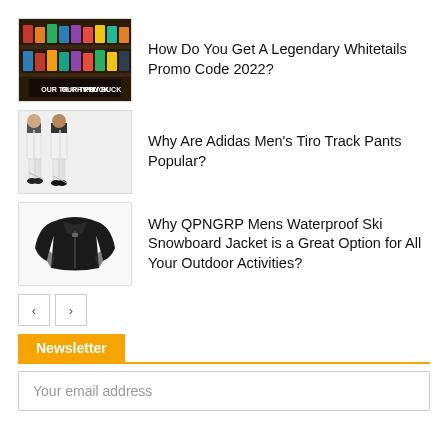[Figure (photo): Thumbnail image with text 'OUR TROPHY BUCK' on a dark shelf background with colorful items]
How Do You Get A Legendary Whitetails Promo Code 2022?
[Figure (photo): Two people wearing white Adidas men's Tiro track pants with black shoes]
Why Are Adidas Men's Tiro Track Pants Popular?
[Figure (photo): Black QPNGRP mens waterproof ski snowboard jacket on white background]
Why QPNGRP Mens Waterproof Ski Snowboard Jacket is a Great Option for All Your Outdoor Activities?
Newsletter
Your email address